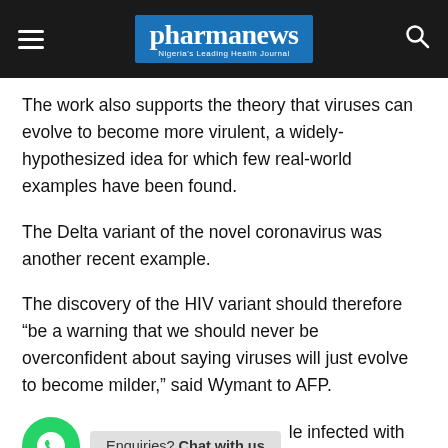pharmanews — Nigeria's Leading Health Journal
The work also supports the theory that viruses can evolve to become more virulent, a widely-hypothesized idea for which few real-world examples have been found.
The Delta variant of the novel coronavirus was another recent example.
The discovery of the HIV variant should therefore “be a warning that we should never be overconfident about saying viruses will just evolve to become milder,” said Wymant to AFP.
In [people] infected with the VB variant, with only four living outside the Netherlands, but still in western Europe.